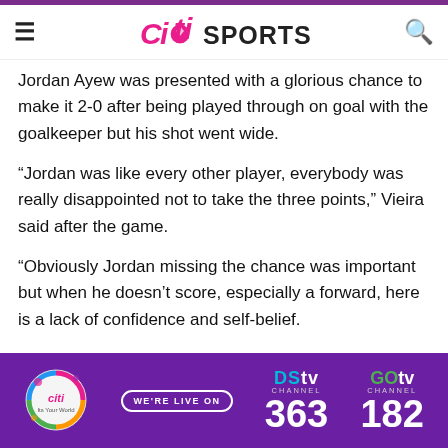Citi SPORTS
Jordan Ayew was presented with a glorious chance to make it 2-0 after being played through on goal with the goalkeeper but his shot went wide.
“Jordan was like every other player, everybody was really disappointed not to take the three points,” Vieira said after the game.
“Obviously Jordan missing the chance was important but when he doesn’t score, especially a forward, here is a lack of confidence and self-belief.
“It is my responsibility to bring him back to what he can do and scoring goals.”
[Figure (other): DStv and GOtv advertisement banner - WE'RE LIVE ON DStv Channel 363, GOtv Channel 182]